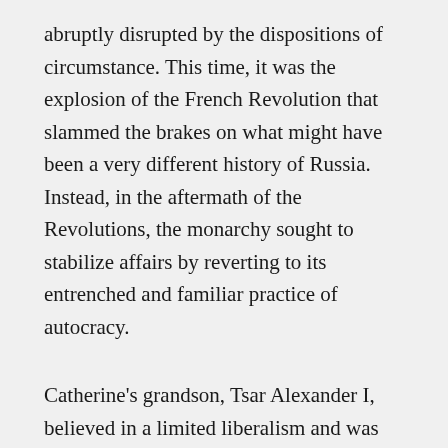abruptly disrupted by the dispositions of circumstance. This time, it was the explosion of the French Revolution that slammed the brakes on what might have been a very different history of Russia. Instead, in the aftermath of the Revolutions, the monarchy sought to stabilize affairs by reverting to its entrenched and familiar practice of autocracy.
Catherine's grandson, Tsar Alexander I, believed in a limited liberalism and was open to reform but a series of wars, assassination attempts and social